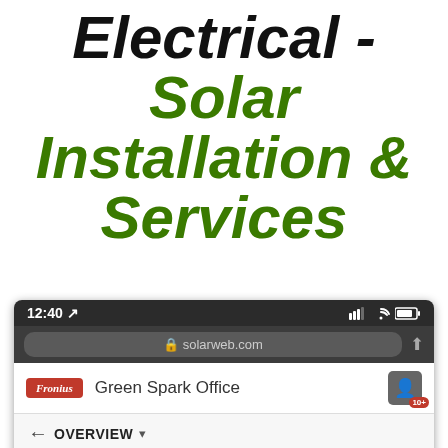Electrical - Solar Installation & Services
[Figure (screenshot): Mobile phone screenshot showing the Fronius Solarweb app at solarweb.com, displaying 'Green Spark Office' with OVERVIEW navigation and CURRENT POWER section. Status bar shows 12:40 time.]